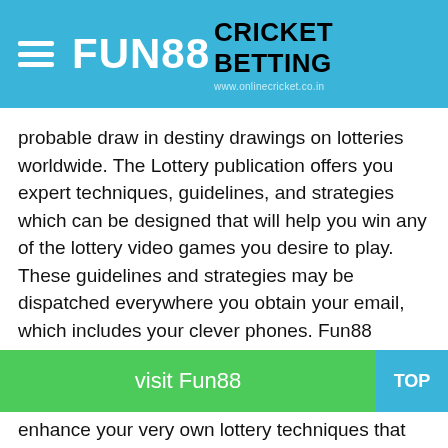FUN88 CRICKET BETTING www.onlinecricket.co.in
probable draw in destiny drawings on lotteries worldwide. The Lottery publication offers you expert techniques, guidelines, and strategies which can be designed that will help you win any of the lottery video games you desire to play. These guidelines and strategies may be dispatched everywhere you obtain your email, which includes your clever phones. Fun88
The Lottery Newsletter consists of guidelines on the way to grow your winnings whilst gambling the select out 3, select out 4, select out 5, select out 6, and scratch-off price price tag lotteries. If you're exquisite in relation to generation, you could use your Twitter or Facebook money owed to obtain
enhance your very own lottery techniques that will help you